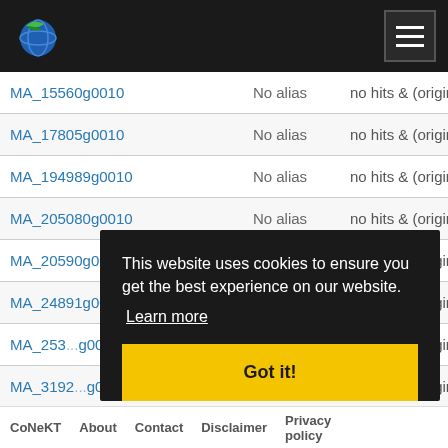CoNeKT website navigation bar with logo and hamburger menu
| Gene ID | Alias | Description |
| --- | --- | --- |
| MA_15560g0010 | No alias | no hits & (original description: n... |
| MA_17805g0010 | No alias | no hits & (original description: n... |
| MA_194989g0010 | No alias | no hits & (original description: n... |
| MA_205080g0010 | No alias | no hits & (original description: n... |
| MA_20590g0030 | No alias | no hits & (original description: n... |
| MA_24891g0010 | No alias | no hits & (original description: n... |
| MA_253...g0010 | No alias | no hits & (original description: n... |
| MA_3192...g0010 | No alias | no hits & (original description: n... |
| MA_302...g0020 | No alias | no hits & (original description: n... |
| ... | ... | ... |
This website uses cookies to ensure you get the best experience on our website. Learn more Got it!
CoNeKT  About  Contact  Disclaimer  Privacy policy